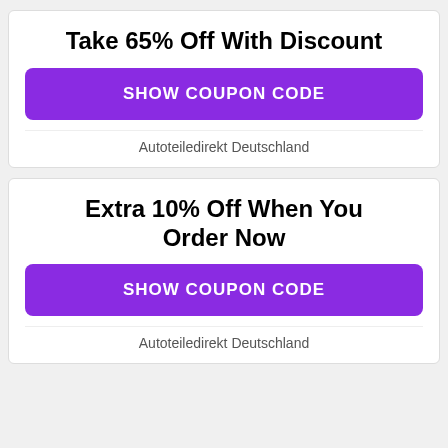Take 65% Off With Discount
SHOW COUPON CODE
Autoteiledirekt Deutschland
Extra 10% Off When You Order Now
SHOW COUPON CODE
Autoteiledirekt Deutschland